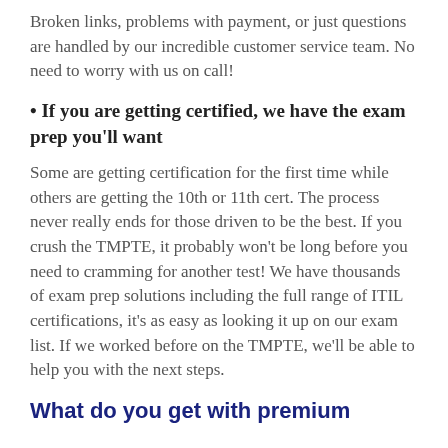Broken links, problems with payment, or just questions are handled by our incredible customer service team. No need to worry with us on call!
• If you are getting certified, we have the exam prep you'll want
Some are getting certification for the first time while others are getting the 10th or 11th cert. The process never really ends for those driven to be the best. If you crush the TMPTE, it probably won't be long before you need to cramming for another test! We have thousands of exam prep solutions including the full range of ITIL certifications, it's as easy as looking it up on our exam list. If we worked before on the TMPTE, we'll be able to help you with the next steps.
What do you get with premium